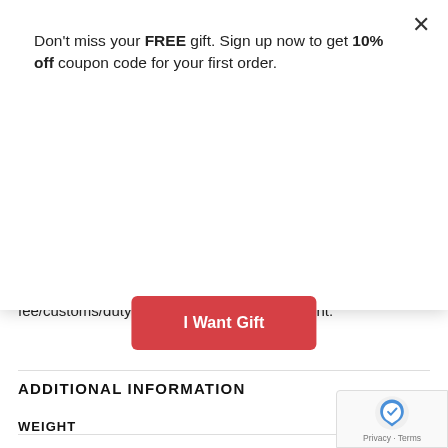Don't miss your FREE gift. Sign up now to get 10% off coupon code for your first order.
[Figure (screenshot): Red button labeled 'I Want Gift']
fee/customs/duty imposed by your government.
ADDITIONAL INFORMATION
| WEIGHT |  |
| --- | --- |
| WEIGHT | 0.015 kg |